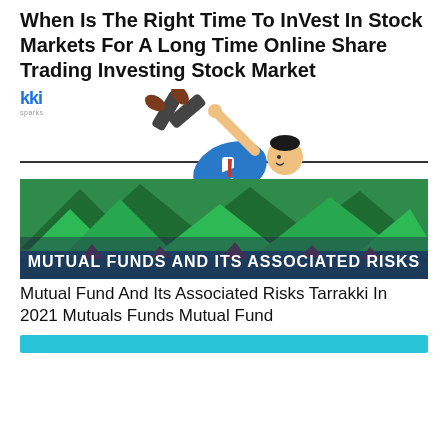When Is The Right Time To InVest In Stock Markets For A Long Time Online Share Trading Investing Stock Market
[Figure (illustration): Illustration of a man in a blue suit falling/hanging from a horizontal line, with a mountain and shark scene below, and text 'MUTUAL FUNDS AND ITS ASSOCIATED RISKS']
Mutual Fund And Its Associated Risks Tarrakki In 2021 Mutuals Funds Mutual Fund